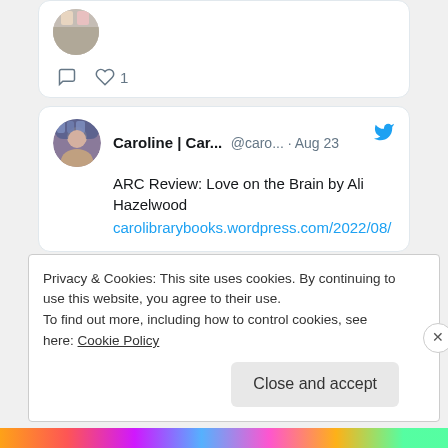[Figure (screenshot): Partial tweet card with avatar images at top, showing comment and like (1) action icons]
1
[Figure (screenshot): Tweet card from Caroline | Car... @caro... · Aug 23 with Twitter bird icon. Text: ARC Review: Love on the Brain by Ali Hazelwood. Link: carolibrarybooks.wordpress.com/2022/08/]
BADGES
Privacy & Cookies: This site uses cookies. By continuing to use this website, you agree to their use. To find out more, including how to control cookies, see here: Cookie Policy
Close and accept